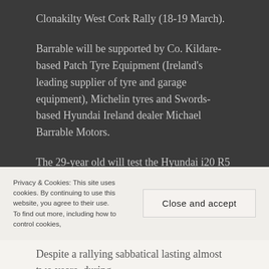Clonakilty West Cork Rally (18-19 March).
Barrable will be supported by Co. Kildare-based Patch Tyre Equipment (Ireland's leading supplier of tyre and garage equipment), Michelin tyres and Swords-based Hyundai Ireland dealer Michael Barrable Motors.
The 29-year old will test the Hyundai i20 R5 when it arrives in Ireland before making the journey south from his home near Dublin for the recce and final preparations. The Cork Motor Club organised rally is close to Barrable's heart, as victory in West Cork on his first attempt in 2011 (in a ŠKODA Fabia S2000) equalled his father's win there in 2007 (Ford Fiesta WRC). Michael will, as always, be by his son's side to lead the family support this year – as will Robert's mother Linda, wife Olivia and the newest member of the Barrable family, Robert's
Privacy & Cookies: This site uses cookies. By continuing to use this website, you agree to their use. To find out more, including how to control cookies,
Close and accept
Despite a rallying sabbatical lasting almost two years, during